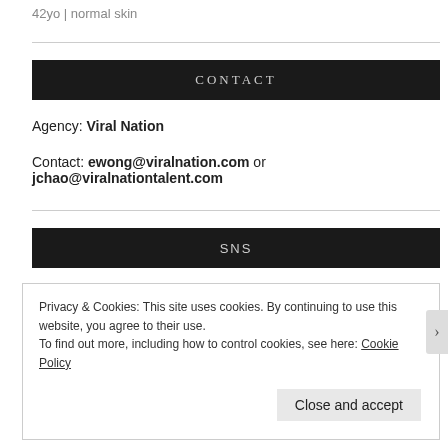42yo | normal skin
CONTACT
Agency: Viral Nation
Contact: ewong@viralnation.com or jchao@viralnationtalent.com
SNS
Privacy & Cookies: This site uses cookies. By continuing to use this website, you agree to their use.
To find out more, including how to control cookies, see here: Cookie Policy